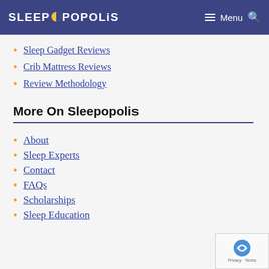SLEEPOPOLIS — Menu
Sleep Gadget Reviews
Crib Mattress Reviews
Review Methodology
More On Sleepopolis
About
Sleep Experts
Contact
FAQs
Scholarships
Sleep Education